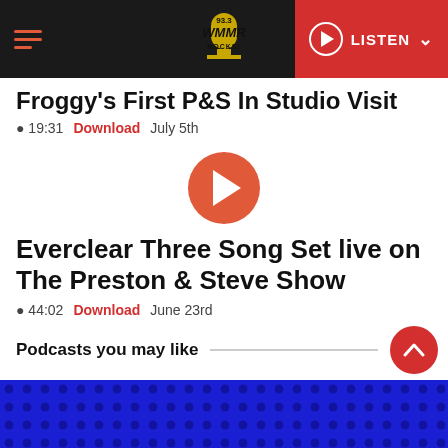93.3 WMMR ROCKS! — LISTEN
Froggy's First P&S In Studio Visit
19:31   Download   July 5th
[Figure (other): Red circular play button]
Everclear Three Song Set live on The Preston & Steve Show
44:02   Download   June 23rd
Podcasts you may like
[Figure (other): Blue banner with dark dot grid pattern — advertisement or podcast thumbnail area]
×